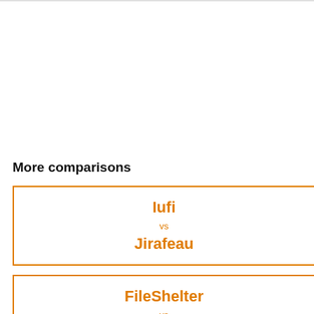More comparisons
Iufi vs Jirafeau
FileShelter vs ProjectSend